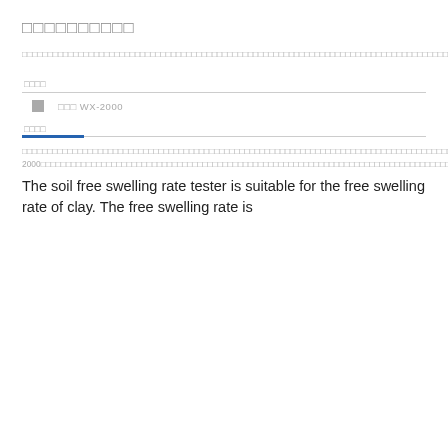□□□□□□□□□□
□□□□□□□□□□□□□□□□□□□□□□□□□□□□□□□□□□□□□□□□□□□□□□□□□□□□□□□□□□□□□□□□□□□□□□□□□□□□□□□□□□□□□□□□□□□□□□□□□□□□□□□□□□□□□□□□□□□□□□□□□□□□□□□□□□□□□□□□□□□□□□□□□□□□□□□□□□□□□□□□□□□□□□□□
□□□□
□□□ WX-2000
□□□□
□□□□□□□□□□□□□□□□□□□□□□□□□□□□□□□□□□□□□□□□□□□□□□□□□□□□□□□□□□□□□□□□□□□□□□□□□□□□□□□□□□□□□□□□□□□□□□□□□□□□□□□□□□□□□□□□□□□□□□□□□□□□□□□□□□□□□□□□□□□□□□□□□□□□□□□□□□□□□□□□□□□□□□□□□□□JTJ-2000□□□□□□□□□□□□□□□□□□□□□□□□□□□□□□□□□□□□□□□□□□□□□□□□□□□□□□□□□□□□□□□□□□□□□□□□□□□□□□□□□□□□□□□□□□□□□□□□□□□□□□□□□□
The soil free swelling rate tester is suitable for the free swelling rate of clay. The free swelling rate is